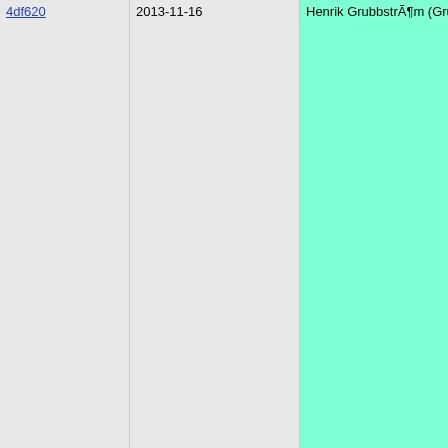| commit | date | author | code |
| --- | --- | --- | --- |
| 4df620 | 2013-11-16 | Henrik GrubbstrÃ¶m (Grubba) | *!    If @
*!    is t
*!    any
*!
*! @param
*!    Acce
*!    @int
*!       @v
*!       @v
*!
*!       @v
*!
*!    @end
*! |
| 6d6b8c | 2016-12-17 | Henrik GrubbstrÃ¶m (Grubba) | *! This f
*! object |
| 4df620 | 2013-11-16 | Henrik GrubbstrÃ¶m (Grubba) | *! |
| 976d4a | 2020-11-16 | Henrik GrubbstrÃ¶m (Grubba) | *! @retur
*!    Retu
*! |
| 3d4599 | 2021-01-12 | Henrik GrubbstrÃ¶m (Grubba) | *! @note
*!    In P
*!    igno
*! |
| 1a5b2f | 2001-02-09 | Henrik GrubbstrÃ¶m (Grubba) | *! @seeal |
| e4bdc5 | 2020-11-10 | Henrik GrubbstrÃ¶m (Grubba) | *!    @[pr
*!    @[i |